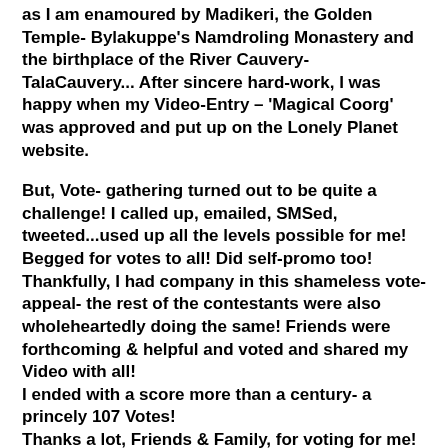as I am enamoured by Madikeri, the Golden Temple- Bylakuppe's Namdroling Monastery and the birthplace of the River Cauvery- TalaCauvery... After sincere hard-work, I was happy when my Video-Entry – 'Magical Coorg' was approved and put up on the Lonely Planet website.
But, Vote- gathering turned out to be quite a challenge! I called up, emailed, SMSed, tweeted...used up all the levels possible for me! Begged for votes to all! Did self-promo too!
Thankfully, I had company in this shameless vote-appeal- the rest of the contestants were also wholeheartedly doing the same! Friends were forthcoming & helpful and voted and shared my Video with all!
I ended with a score more than a century- a princely 107 Votes!
Thanks a lot, Friends & Family, for voting for me!
The results declared that I was one of the 10 3rd Prize Winners of the contest!